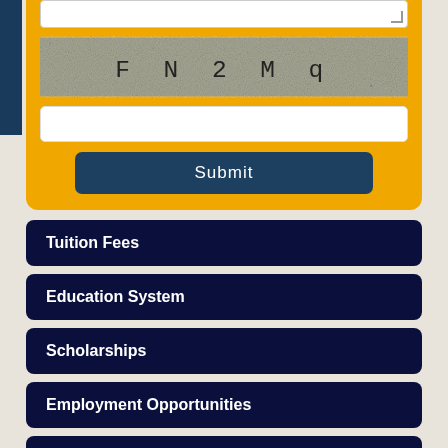[Figure (screenshot): CAPTCHA image showing text 'FN2Mq' on a noisy/grainy background]
[Figure (screenshot): Web form with captcha, text input, and Submit button on yellow/gold background]
Tuition Fees
Education System
Scholarships
Employment Opportunities
Important Websites
FAQs